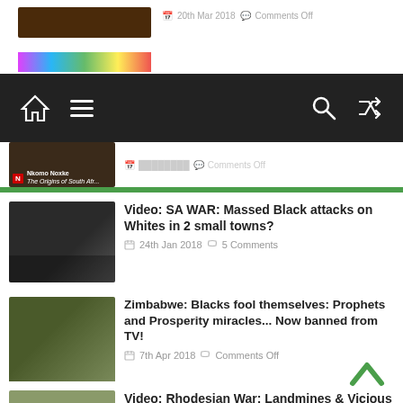[Figure (screenshot): Partial top strip with image and date meta: 20th Mar 2018, Comments Off]
[Figure (screenshot): Navigation bar with home, menu, search, and shuffle icons on dark background]
Video: SA WAR: Massed Black attacks on Whites in 2 small towns?
24th Jan 2018  5 Comments
Zimbabwe: Blacks fool themselves: Prophets and Prosperity miracles... Now banned from TV!
7th Apr 2018  Comments Off
Video: Rhodesian War: Landmines & Vicious Farm Attacks
10th Feb 2018  Comments Off